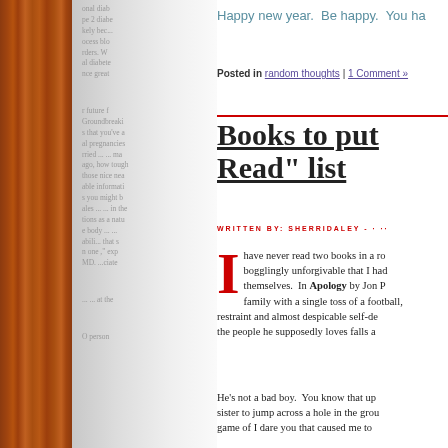Happy new year.  Be happy.  You ha...
Posted in random thoughts | 1 Comment »
Books to put on your "Must Read" list
WRITTEN BY: SHERRIDALEY - · ··
I have never read two books in a row that were so mind-bogglingly unforgivable that I had to remind themselves. In Apology by Jon P... family with a single toss of a football, restraint and almost despicable self-de... the people he supposedly loves falls a...
He's not a bad boy. You know that up... sister to jump across a hole in the grou... game of I dare you that caused me to...